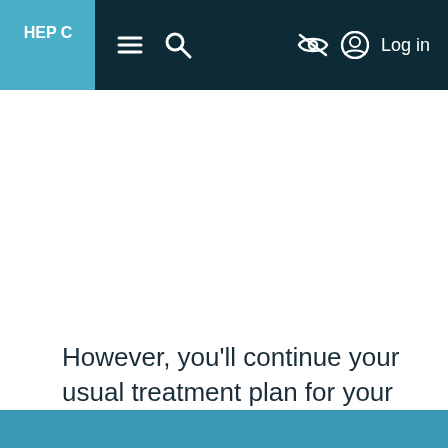HEP C | Log in
However, you'll continue your usual treatment plan for your chronic condition (osteoporosis).